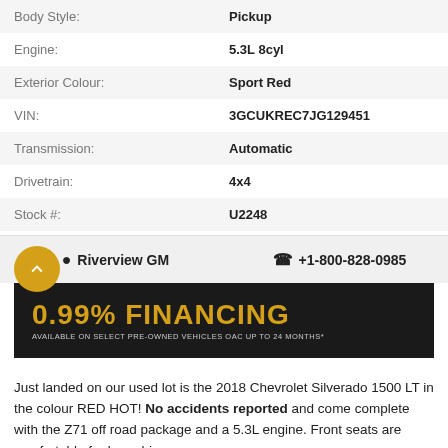| Field | Value |
| --- | --- |
| Body Style: | Pickup |
| Engine: | 5.3L 8cyl |
| Exterior Colour: | Sport Red |
| VIN: | 3GCUKREC7JG129451 |
| Transmission: | Automatic |
| Drivetrain: | 4x4 |
| Stock #: | U2248 |
| City: | WALLACEBURG |
Riverview GM  +1-800-828-0985
[Figure (infographic): Dark promotional banner with gold text reading '0.99% FINANCING' and subtext 'AVAILABLE ON SELECT PRE-OWNED VEHICLES OAC UP TO 24 MONTHS*']
Just landed on our used lot is the 2018 Chevrolet Silverado 1500 LT in the colour RED HOT! No accidents reported and come complete with the Z71 off road package and a 5.3L engine. Front seats are comfortable for long drives on... Read More